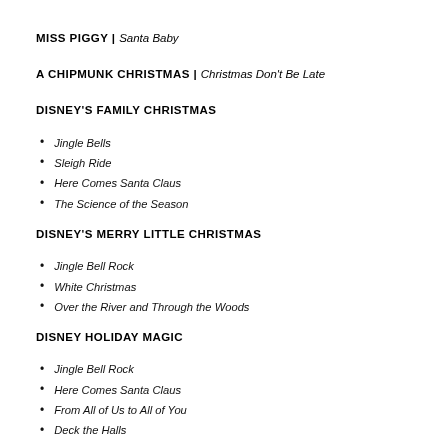MISS PIGGY | Santa Baby
A CHIPMUNK CHRISTMAS | Christmas Don't Be Late
DISNEY'S FAMILY CHRISTMAS
Jingle Bells
Sleigh Ride
Here Comes Santa Claus
The Science of the Season
DISNEY'S MERRY LITTLE CHRISTMAS
Jingle Bell Rock
White Christmas
Over the River and Through the Woods
DISNEY HOLIDAY MAGIC
Jingle Bell Rock
Here Comes Santa Claus
From All of Us to All of You
Deck the Halls